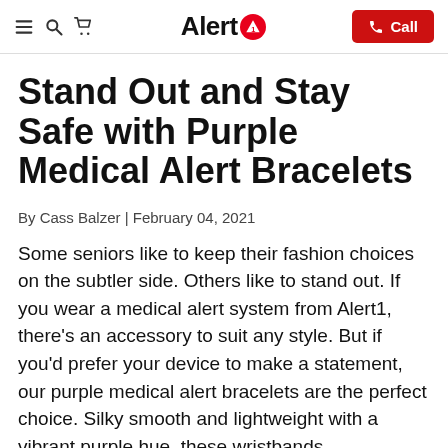Alert1 | Call
Stand Out and Stay Safe with Purple Medical Alert Bracelets
By Cass Balzer | February 04, 2021
Some seniors like to keep their fashion choices on the subtler side. Others like to stand out. If you wear a medical alert system from Alert1, there's an accessory to suit any style. But if you'd prefer your device to make a statement, our purple medical alert bracelets are the perfect choice. Silky smooth and lightweight with a vibrant purple hue, these wristbands